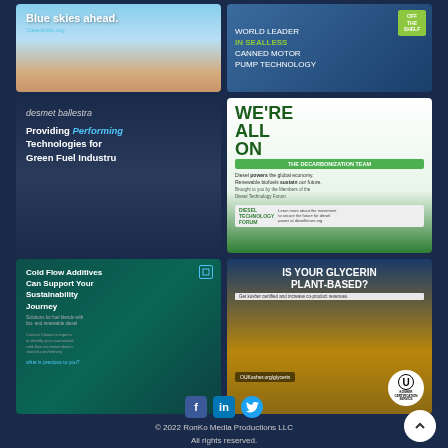[Figure (illustration): Ad: Blue skies ahead. cleanfuels.org — blue sky and desert landscape]
[Figure (illustration): Ad: World Leader In Sealless Canned Motor Pump Technology — Off The Shelf badge, industrial pump image]
[Figure (illustration): Ad: desmet ballestra — Providing Performing Technologies for Green Fuel Industry]
[Figure (illustration): Ad: We're All On The Decarbonization Team — Diesel powers the global economy. Renewable biofuels sustain our future. Diesel Technology Forum dieselforum.org]
[Figure (illustration): Ad: Cold Flow Additives Can Support Your Sustainability Journey — Solutions for fuel blends with bio- and renewable diesel. Clariant. what is precious to you?]
[Figure (illustration): Ad: Is Your Glycerin Plant-Based? — Get kosher certified and increase co-product revenues. OUKosher.org/glycerin. Kosher Certification Service (U)]
© 2022 RonKo Media Productions LLC All rights reserved.